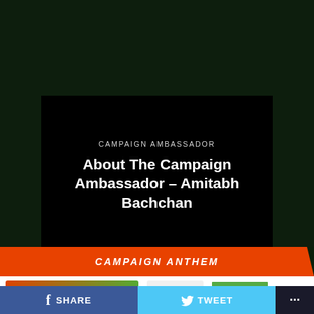[Figure (screenshot): Dark green background video thumbnail showing text overlay for campaign ambassador section]
CAMPAIGN AMBASSADOR
About The Campaign Ambassador – Amitabh Bachchan
CAMPAIGN ANTHEM
[Figure (screenshot): Bottom thumbnail strip with orange and green colors partially visible]
SHARE   TWEET   ...